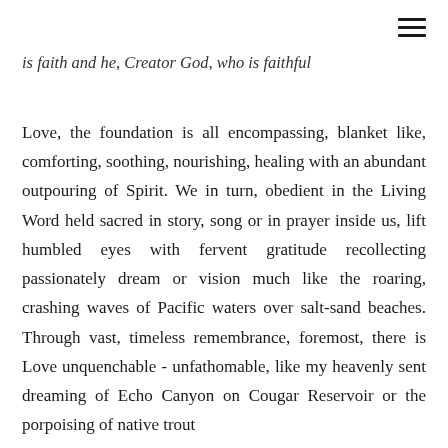is faith and he, Creator God, who is faithful
Love, the foundation is all encompassing, blanket like, comforting, soothing, nourishing, healing with an abundant outpouring of Spirit. We in turn, obedient in the Living Word held sacred in story, song or in prayer inside us, lift humbled eyes with fervent gratitude recollecting passionately dream or vision much like the roaring, crashing waves of Pacific waters over salt-sand beaches. Through vast, timeless remembrance, foremost, there is Love unquenchable - unfathomable, like my heavenly sent dreaming of Echo Canyon on Cougar Reservoir or the porpoising of native trout